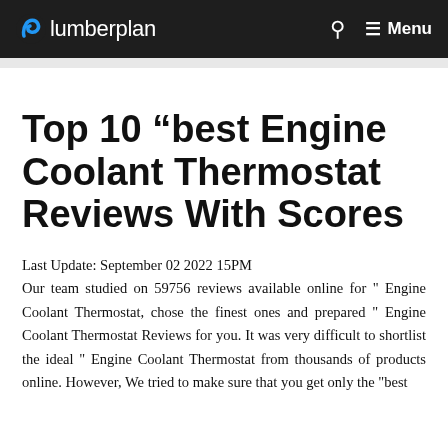plumberplan — Menu
Top 10 “best Engine Coolant Thermostat Reviews With Scores
Last Update: September 02 2022 15PM
Our team studied on 59756 reviews available online for " Engine Coolant Thermostat, chose the finest ones and prepared " Engine Coolant Thermostat Reviews for you. It was very difficult to shortlist the ideal " Engine Coolant Thermostat from thousands of products online. However, We tried to make sure that you get only the "best